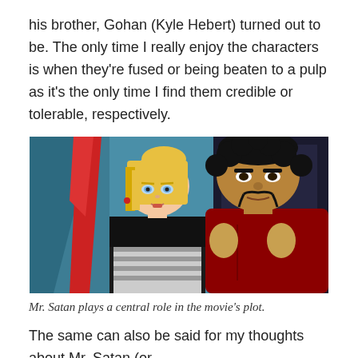his brother, Gohan (Kyle Hebert) turned out to be. The only time I really enjoy the characters is when they're fused or being beaten to a pulp as it's the only time I find them credible or tolerable, respectively.
[Figure (illustration): Anime screenshot from Dragon Ball Z showing Android 18 (blonde female character in black top) and Mr. Satan (large muscular man with black curly hair and mustache) side by side, with teal/blue background.]
Mr. Satan plays a central role in the movie's plot.
The same can also be said for my thoughts about Mr. Satan (or